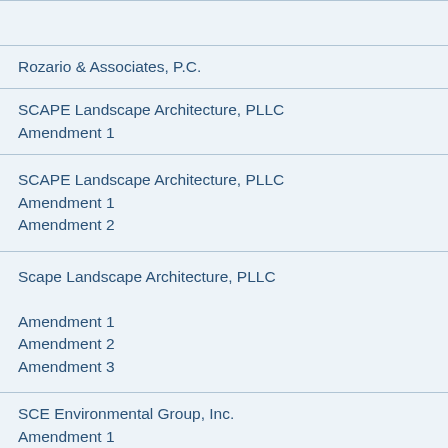|  |
| Rozario & Associates, P.C. |
| SCAPE Landscape Architecture, PLLC
Amendment 1 |
| SCAPE Landscape Architecture, PLLC
Amendment 1
Amendment 2 |
| Scape Landscape Architecture, PLLC

Amendment 1
Amendment 2
Amendment 3 |
| SCE Environmental Group, Inc.
Amendment 1 |